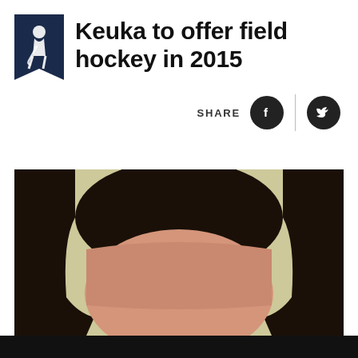[Figure (logo): Keuka College pennant/flag logo with field hockey player silhouette in dark navy blue]
Keuka to offer field hockey in 2015
SHARE
[Figure (photo): Close-up photo of a person's head, cropped at forehead level, with dark hair, against a light yellowish background]